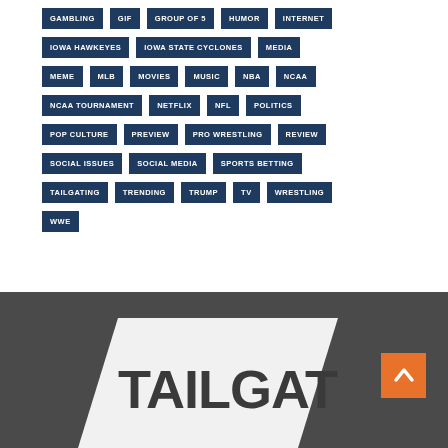GAMBLING
GIF
GROUP OF 5
HUMOR
INTERNET
IOWA HAWKEYES
IOWA STATE CYCLONES
MEDIA
MEME
MLB
MOVIES
MUSIC
NBA
NCAA
NCAA TOURNAMENT
NETFLIX
NFL
POLITICS
POP CULTURE
PREVIEW
PRO WRESTLING
REVIEW
SOCIAL ISSUES
SOCIAL MEDIA
SPORTS BETTING
TAILGATING
TRENDING
TRUMP
TV
WRESTLING
WWE
[Figure (logo): Tailgate logo on dark gray background with orange back-to-top button]